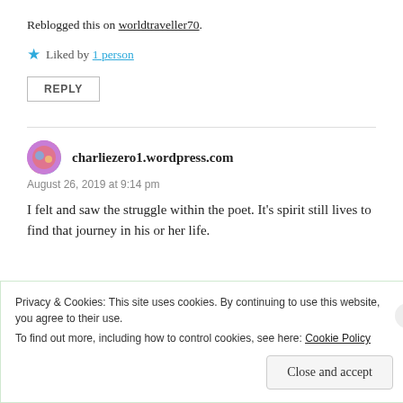Reblogged this on worldtraveller70.
★ Liked by 1 person
REPLY
charliezero1.wordpress.com
August 26, 2019 at 9:14 pm
I felt and saw the struggle within the poet. It's spirit still lives to find that journey in his or her life.
Privacy & Cookies: This site uses cookies. By continuing to use this website, you agree to their use. To find out more, including how to control cookies, see here: Cookie Policy
Close and accept